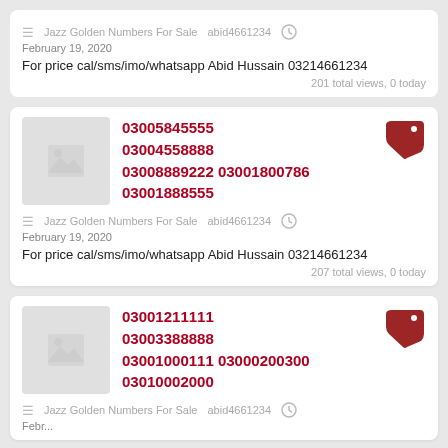For price cal/sms/imo/whatsapp Abid Hussain 03214661234
201 total views, 0 today
[Figure (other): Listing card with phone numbers 03005845555 03004558888 03008889222 03001800786 03001888555]
Jazz Golden Numbers For Sale   abid4661234   February 19, 2020
For price cal/sms/imo/whatsapp Abid Hussain 03214661234
207 total views, 0 today
[Figure (other): Listing card with phone numbers 03001211111 03003388888 03001000111 03000200300 03010002000]
Jazz Golden Numbers For Sale   abid4661234